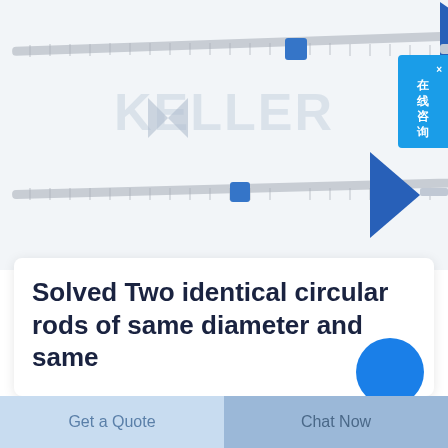[Figure (illustration): Product photo showing two flexible threaded rods with blue arrow-shaped anchor fins and a KELLER brand watermark. The rods are shown at slight angles with blue connector fittings. Background is light gray/white.]
在线咨询
Solved Two identical circular rods of same diameter and same
Get a Quote
Chat Now